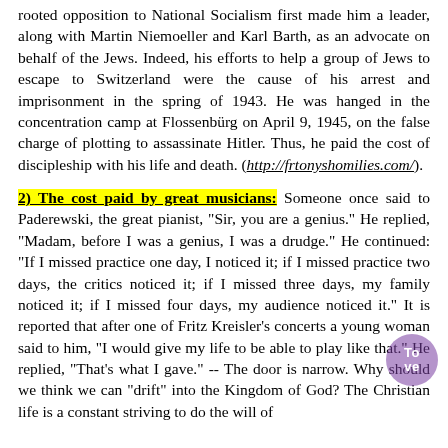rooted opposition to National Socialism first made him a leader, along with Martin Niemoeller and Karl Barth, as an advocate on behalf of the Jews. Indeed, his efforts to help a group of Jews to escape to Switzerland were the cause of his arrest and imprisonment in the spring of 1943. He was hanged in the concentration camp at Flossenbürg on April 9, 1945, on the false charge of plotting to assassinate Hitler. Thus, he paid the cost of discipleship with his life and death. (http://frtonyshomilies.com/).
2) The cost paid by great musicians: Someone once said to Paderewski, the great pianist, "Sir, you are a genius." He replied, "Madam, before I was a genius, I was a drudge." He continued: "If I missed practice one day, I noticed it; if I missed practice two days, the critics noticed it; if I missed three days, my family noticed it; if I missed four days, my audience noticed it." It is reported that after one of Fritz Kreisler's concerts a young woman said to him, "I would give my life to be able to play like that." He replied, "That's what I gave." -- The door is narrow. Why should we think we can "drift" into the Kingdom of God? The Christian life is a constant striving to do the will of